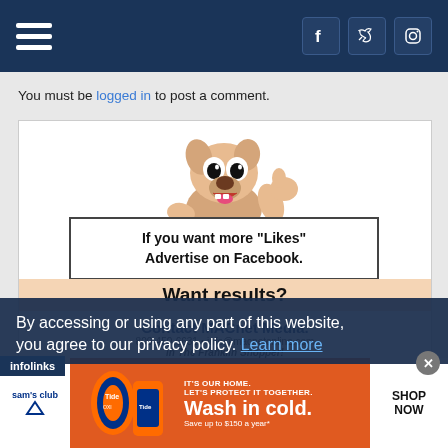Navigation header with hamburger menu and social icons (Facebook, Twitter, Instagram)
You must be logged in to post a comment.
[Figure (illustration): Advertisement featuring a cartoon dog giving thumbs up above a box reading: If you want more "Likes" Advertise on Facebook. Want results? Contact MACnet Media. 800-450-6631 • info@macnetonline.com in The Franklin Shopper!]
By accessing or using any part of this website, you agree to our privacy policy. Learn more
infolinks
[Figure (illustration): Sam's Club banner ad: IT'S OUR HOME. LET'S PROTECT IT TOGETHER. Wash in cold. Save up to $150 a year*  SHOP NOW]